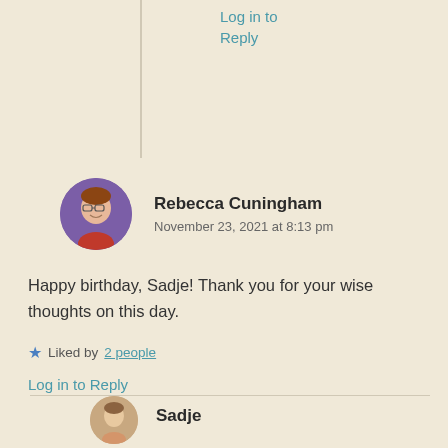Log in to
Reply
[Figure (photo): Circular avatar photo of Rebecca Cuningham, a woman with glasses and short hair, purple background]
Rebecca Cuningham
November 23, 2021 at 8:13 pm
Happy birthday, Sadje! Thank you for your wise thoughts on this day.
Liked by 2 people
Log in to Reply
[Figure (photo): Partial circular avatar photo of Sadje, cropped at bottom of page]
Sadje